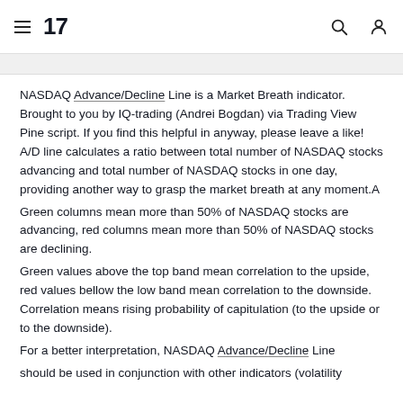TradingView logo, navigation menu, search icon, user icon
NASDAQ Advance/Decline Line is a Market Breath indicator. Brought to you by IQ-trading (Andrei Bogdan) via Trading View Pine script. If you find this helpful in anyway, please leave a like! A/D line calculates a ratio between total number of NASDAQ stocks advancing and total number of NASDAQ stocks in one day, providing another way to grasp the market breath at any moment.A
Green columns mean more than 50% of NASDAQ stocks are advancing, red columns mean more than 50% of NASDAQ stocks are declining.
Green values above the top band mean correlation to the upside, red values bellow the low band mean correlation to the downside. Correlation means rising probability of capitulation (to the upside or to the downside).
For a better interpretation, NASDAQ Advance/Decline Line should be used in conjunction with other indicators (volatility